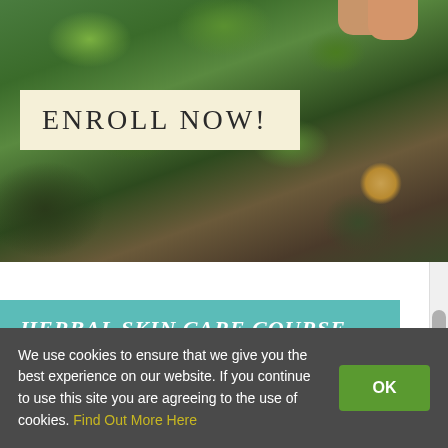[Figure (photo): Nature photo with green leaves and mushroom/chanterelle, with a hand visible at top right. Overlaid with 'ENROLL NOW!' banner in cream/beige background.]
HERBAL SKIN CARE COURSE
[Figure (photo): Product photo with woven basket, dark glass bottle, and Herbal Academy International School logo/seal partially visible.]
We use cookies to ensure that we give you the best experience on our website. If you continue to use this site you are agreeing to the use of cookies. Find Out More Here